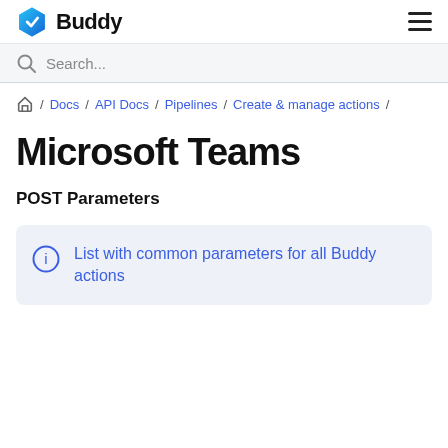Buddy | Microsoft Teams
Search...
Home / Docs / API Docs / Pipelines / Create & manage actions /
Microsoft Teams
POST Parameters
List with common parameters for all Buddy actions